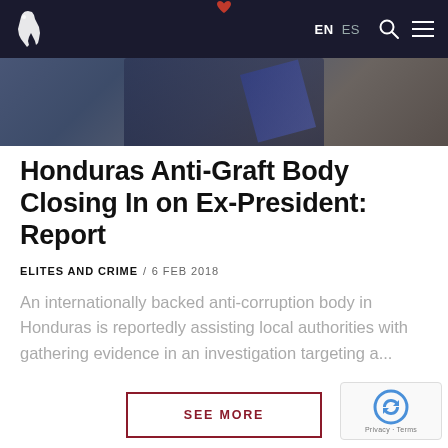EN  ES
[Figure (photo): Partial photograph of a person in formal attire with a sash, dark background, cropped at the top of the page]
Honduras Anti-Graft Body Closing In on Ex-President: Report
ELITES AND CRIME / 6 FEB 2018
An internationally backed anti-corruption body in Honduras is reportedly assisting local authorities with gathering evidence in an investigation targeting a...
SEE MORE